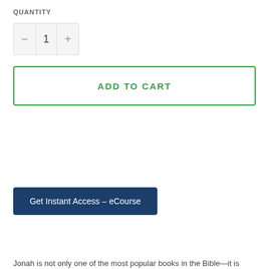QUANTITY
[Figure (other): Quantity selector control with minus button, value 1, and plus button]
ADD TO CART
Get Instant Access – eCourse
Jonah is not only one of the most popular books in the Bible—it is